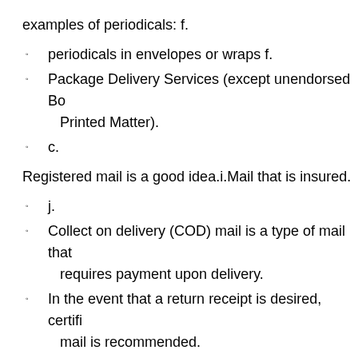examples of periodicals: f.
periodicals in envelopes or wraps f.
Package Delivery Services (except unendorsed Bound Printed Matter).
c.
Registered mail is a good idea.i.Mail that is insured.
j.
Collect on delivery (COD) mail is a type of mail that requires payment upon delivery.
In the event that a return receipt is desired, certified mail is recommended.
l.
Express Mail, if a return receipt is required; otherwise